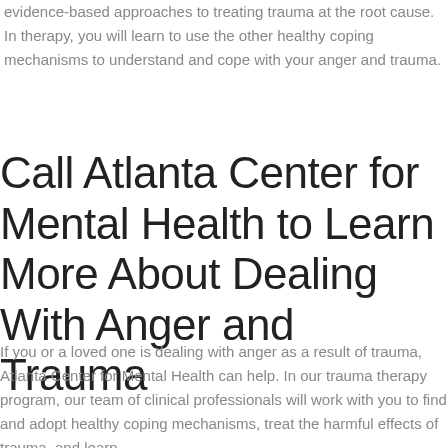evidence-based approaches to treating trauma at the root cause. In therapy, you will learn to use the other healthy coping mechanisms to understand and cope with your anger and trauma.
Call Atlanta Center for Mental Health to Learn More About Dealing With Anger and Trauma
If you or a loved one is dealing with anger as a result of trauma, Atlanta Center for Mental Health can help. In our trauma therapy program, our team of clinical professionals will work with you to find and adopt healthy coping mechanisms, treat the harmful effects of trauma, and learn